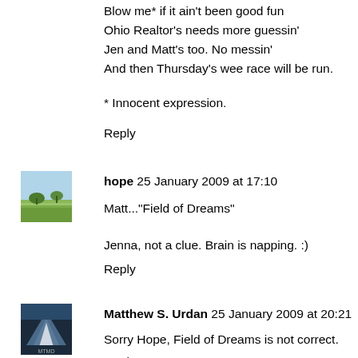Blow me* if it ain't been good fun
Ohio Realtor's needs more guessin'
Jen and Matt's too. No messin'
And then Thursday's wee race will be run.
* Innocent expression.
Reply
hope  25 January 2009 at 17:10
Matt..."Field of Dreams"
Jenna, not a clue. Brain is napping. :)
Reply
Matthew S. Urdan  25 January 2009 at 20:21
Sorry Hope, Field of Dreams is not correct.
Reply